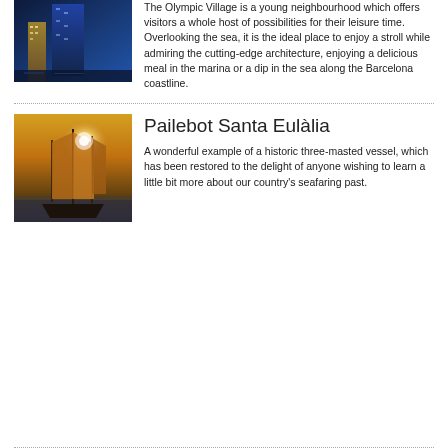[Figure (photo): Night photo of a modern high-rise building near the Barcelona waterfront, illuminated with blue and gold lights]
The Olympic Village is a young neighbourhood which offers visitors a whole host of possibilities for their leisure time. Overlooking the sea, it is the ideal place to enjoy a stroll while admiring the cutting-edge architecture, enjoying a delicious meal in the marina or a dip in the sea along the Barcelona coastline.
[Figure (photo): A historic three-masted sailing vessel (Pailebot Santa Eulàlia) with brown sails, silhouetted against a bright sun on the sea]
Pailebot Santa Eulàlia
A wonderful example of a historic three-masted vessel, which has been restored to the delight of anyone wishing to learn a little bit more about our country's seafaring past.